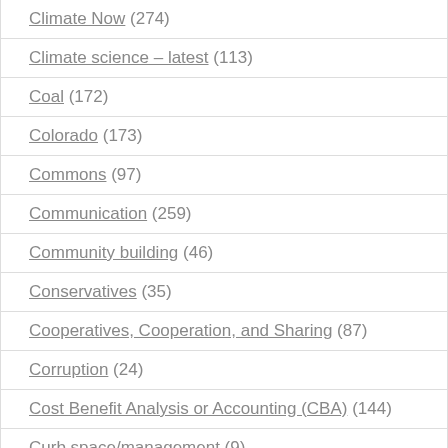Climate Now (274)
Climate science – latest (113)
Coal (172)
Colorado (173)
Commons (97)
Communication (259)
Community building (46)
Conservatives (35)
Cooperatives, Cooperation, and Sharing (87)
Corruption (24)
Cost Benefit Analysis or Accounting (CBA) (144)
Curb space/management (9)